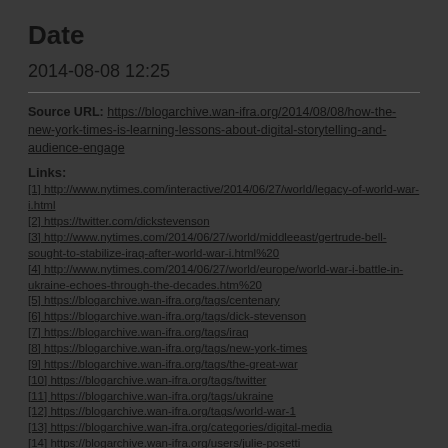Date
2014-08-08 12:25
Source URL: https://blogarchive.wan-ifra.org/2014/08/08/how-the-new-york-times-is-learning-lessons-about-digital-storytelling-and-audience-engage
Links:
[1] http://www.nytimes.com/interactive/2014/06/27/world/legacy-of-world-war-i.html
[2] https://twitter.com/dickstevenson
[3] http://www.nytimes.com/2014/06/27/world/middleeast/gertrude-bell-sought-to-stabilize-iraq-after-world-war-i.html%20
[4] http://www.nytimes.com/2014/06/27/world/europe/world-war-i-battle-in-ukraine-echoes-through-the-decades.htm%20
[5] https://blogarchive.wan-ifra.org/tags/centenary
[6] https://blogarchive.wan-ifra.org/tags/dick-stevenson
[7] https://blogarchive.wan-ifra.org/tags/iraq
[8] https://blogarchive.wan-ifra.org/tags/new-york-times
[9] https://blogarchive.wan-ifra.org/tags/the-great-war
[10] https://blogarchive.wan-ifra.org/tags/twitter
[11] https://blogarchive.wan-ifra.org/tags/ukraine
[12] https://blogarchive.wan-ifra.org/tags/world-war-1
[13] https://blogarchive.wan-ifra.org/categories/digital-media
[14] https://blogarchive.wan-ifra.org/users/julie-posetti